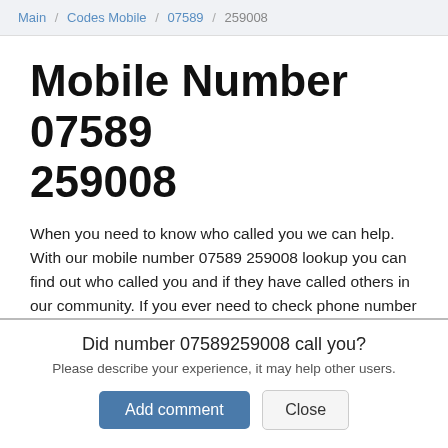Main / Codes Mobile / 07589 / 259008
Mobile Number 07589 259008
When you need to know who called you we can help. With our mobile number 07589 259008 lookup you can find out who called you and if they have called others in our community. If you ever need to check phone number 07589259008 then you have come to the right place.
Information
Did number 07589259008 call you?
Please describe your experience, it may help other users.